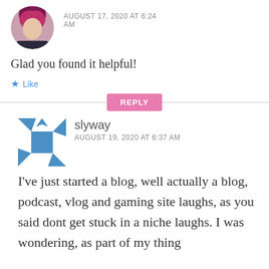[Figure (photo): Circular avatar photo of a person with pink/magenta hair]
AUGUST 17, 2020 AT 6:24 AM
Glad you found it helpful!
★ Like
REPLY
[Figure (logo): Slyway geometric logo - blue pinwheel/star shape made of triangles and a central square]
slyway
AUGUST 19, 2020 AT 6:37 AM
I've just started a blog, well actually a blog, podcast, vlog and gaming site laughs, as you said dont get stuck in a niche laughs. I was wondering, as part of my thing